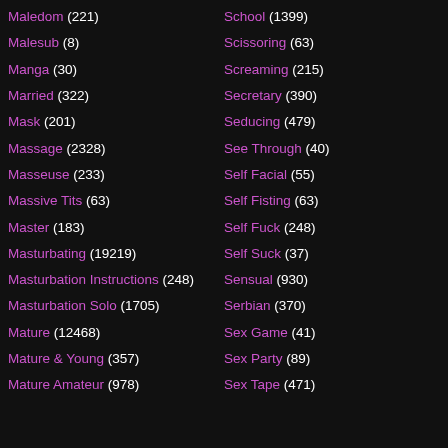Maledom (221)
Malesub (8)
Manga (30)
Married (322)
Mask (201)
Massage (2328)
Masseuse (233)
Massive Tits (63)
Master (183)
Masturbating (19219)
Masturbation Instructions (248)
Masturbation Solo (1705)
Mature (12468)
Mature & Young (357)
Mature Amateur (978)
School (1399)
Scissoring (63)
Screaming (215)
Secretary (390)
Seducing (479)
See Through (40)
Self Facial (55)
Self Fisting (63)
Self Fuck (248)
Self Suck (37)
Sensual (930)
Serbian (370)
Sex Game (41)
Sex Party (89)
Sex Tape (471)